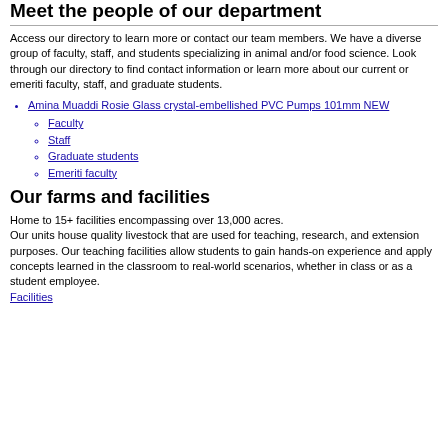Meet the people of our department
Access our directory to learn more or contact our team members. We have a diverse group of faculty, staff, and students specializing in animal and/or food science. Look through our directory to find contact information or learn more about our current or emeriti faculty, staff, and graduate students.
Amina Muaddi Rosie Glass crystal-embellished PVC Pumps 101mm NEW
Faculty
Staff
Graduate students
Emeriti faculty
Our farms and facilities
Home to 15+ facilities encompassing over 13,000 acres. Our units house quality livestock that are used for teaching, research, and extension purposes. Our teaching facilities allow students to gain hands-on experience and apply concepts learned in the classroom to real-world scenarios, whether in class or as a student employee.
Facilities